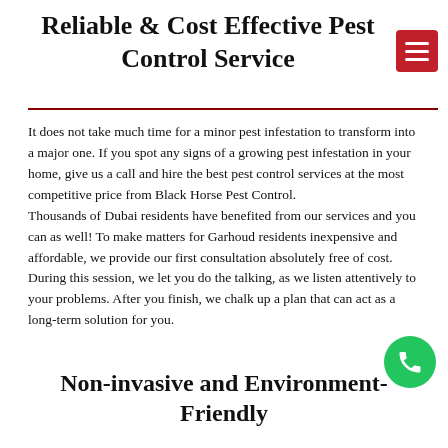Reliable & Cost Effective Pest Control Service
It does not take much time for a minor pest infestation to transform into a major one. If you spot any signs of a growing pest infestation in your home, give us a call and hire the best pest control services at the most competitive price from Black Horse Pest Control.
Thousands of Dubai residents have benefited from our services and you can as well! To make matters for Garhoud residents inexpensive and affordable, we provide our first consultation absolutely free of cost. During this session, we let you do the talking, as we listen attentively to your problems. After you finish, we chalk up a plan that can act as a long-term solution for you.
Non-invasive and Environment-Friendly